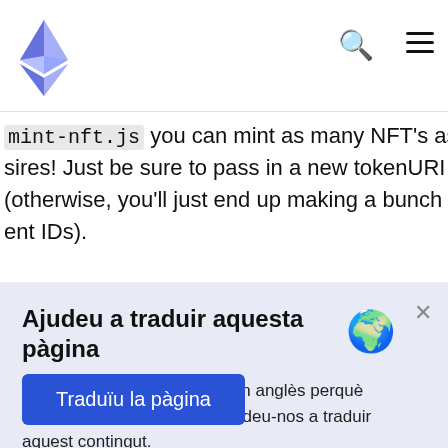[Ethereum logo] [search icon] [menu icon]
mint-nft.js you can mint as many NFT's as your heart desires! Just be sure to pass in a new tokenURI describing t (otherwise, you'll just end up making a bunch of identical ent IDs).
Ajudeu a traduir aquesta pàgina
Esteu veient aquest pàgina en anglès perquè encara no l'hem traduïda. Ajudeu-nos a traduir aquest contingut.
Traduïu la pàgina